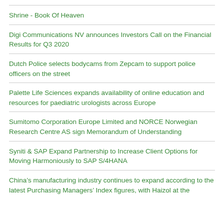Shrine - Book Of Heaven
Digi Communications NV announces Investors Call on the Financial Results for Q3 2020
Dutch Police selects bodycams from Zepcam to support police officers on the street
Palette Life Sciences expands availability of online education and resources for paediatric urologists across Europe
Sumitomo Corporation Europe Limited and NORCE Norwegian Research Centre AS sign Memorandum of Understanding
Syniti & SAP Expand Partnership to Increase Client Options for Moving Harmoniously to SAP S/4HANA
China's manufacturing industry continues to expand according to the latest Purchasing Managers' Index figures, with Haizol at the